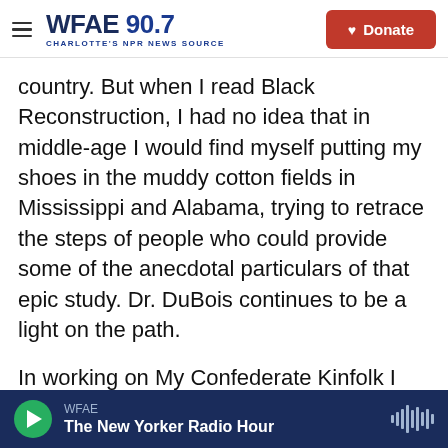WFAE 90.7 — Charlotte's NPR News Source | Donate
country. But when I read Black Reconstruction, I had no idea that in middle-age I would find myself putting my shoes in the muddy cotton fields in Mississippi and Alabama, trying to retrace the steps of people who could provide some of the anecdotal particulars of that epic study. Dr. DuBois continues to be a light on the path.
In working on My Confederate Kinfolk I found myself stepping into dank sinking land edged by creeks in the Mississippi Delta where the struggle people have waged has been romanticized, erased, buried, and glorified, without a sense of how
WFAE — The New Yorker Radio Hour